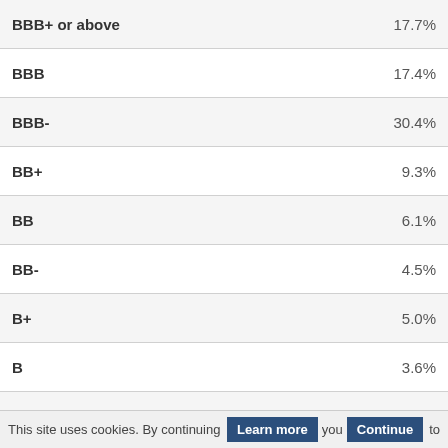|  |  |
| --- | --- |
| BBB+ or above | 17.7% |
| BBB | 17.4% |
| BBB- | 30.4% |
| BB+ | 9.3% |
| BB | 6.1% |
| BB- | 4.5% |
| B+ | 5.0% |
| B | 3.6% |
| B- | 1.8% |
| CCC+ or below | 0.7% |
| Non Rated | 3.5% |
| Other Fixed Income | 0.0% |
| TOTAL | 100.0% |
This site uses cookies. By continuing to  Learn more  you  Continue  to